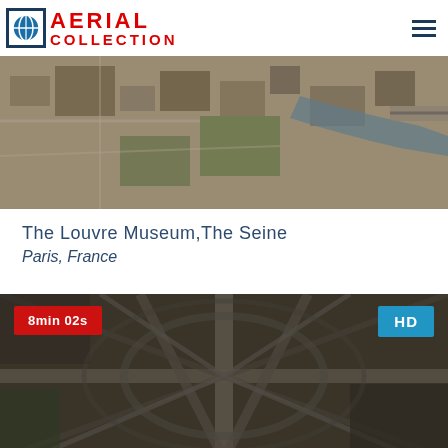AERIAL COLLECTION
[Figure (photo): Aerial view of The Louvre Museum and The Seine river in Paris, France, showing rooftops, gardens, and river from above]
The Louvre Museum,The Seine
Paris, France
[Figure (photo): Aerial view of The Eiffel Tower area in Paris, France, showing the tower structure and surrounding city from above. Duration badge: 8min 02s. Quality badge: HD]